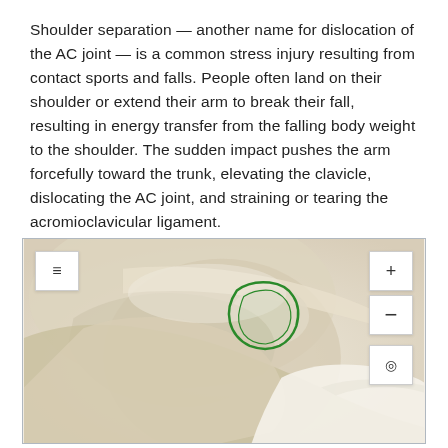Shoulder separation — another name for dislocation of the AC joint — is a common stress injury resulting from contact sports and falls. People often land on their shoulder or extend their arm to break their fall, resulting in energy transfer from the falling body weight to the shoulder. The sudden impact pushes the arm forcefully toward the trunk, elevating the clavicle, dislocating the AC joint, and straining or tearing the acromioclavicular ligament.
[Figure (illustration): Interactive 3D medical illustration of a shoulder joint showing the AC joint area with a green outlined region highlighting the acromioclavicular ligament area. The image has navigation UI controls: a hamburger menu button (top-left), zoom in (+) button (top-right), zoom out (-) button (right), and a target/reset button (right). The shoulder anatomy shows beige/cream colored soft tissue rendering.]